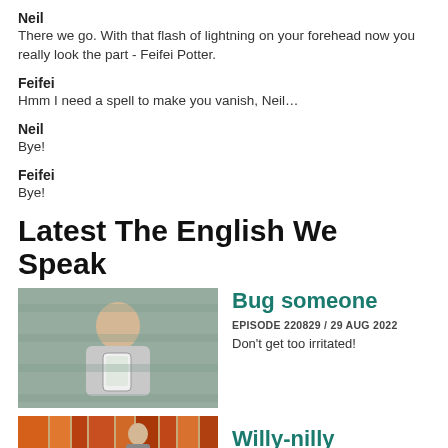Neil
There we go. With that flash of lightning on your forehead now you really look the part - Feifei Potter.
Feifei
Hmm I need a spell to make you vanish, Neil…
Neil
Bye!
Feifei
Bye!
Latest The English We Speak
[Figure (photo): Woman looking irritated at her phone, holding a white smartphone]
Bug someone
EPISODE 220829 / 29 AUG 2022
Don't get too irritated!
[Figure (photo): Person in a closet or organized space]
Willy-nilly